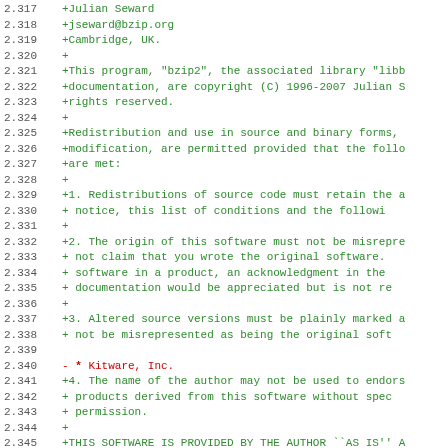Code diff showing lines 2.317-2.348 of a license file. Added lines (+) in green showing Julian Seward bzip2 BSD license text. Line 2.340 shows removed line (- * Kitware, Inc.) in red.